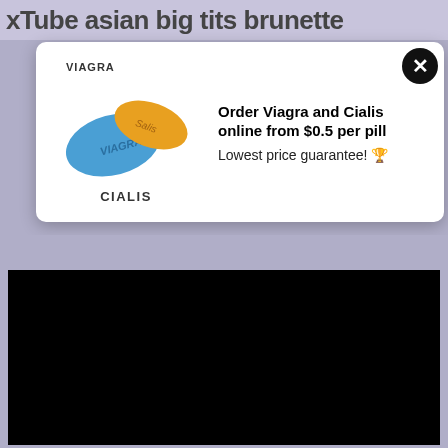xTube asian big tits brunette
[Figure (screenshot): Advertisement popup card showing Viagra and Cialis pills image on left, with text 'Order Viagra and Cialis online from $0.5 per pill' and 'Lowest price guarantee!' on the right, with a black close button (X) in the top-right corner of the card.]
Order Viagra and Cialis online from $0.5 per pill
Lowest price guarantee! 🏆
[Figure (photo): Large black rectangle representing a video player or blacked-out content area.]